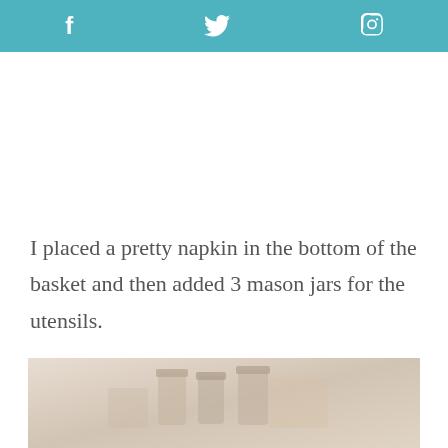f  ✦  p
I placed a pretty napkin in the bottom of the basket and then added 3 mason jars for the utensils.
[Figure (photo): Photo showing mason jars and utensils in a basket with a decorative napkin, partially visible at bottom of page]